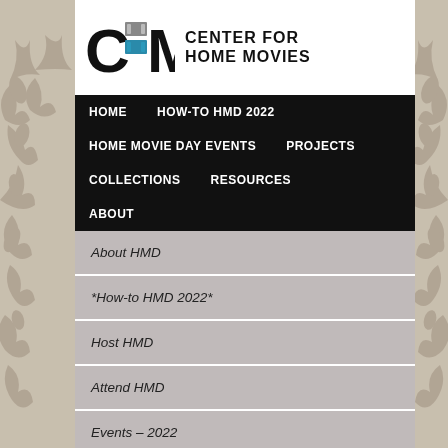[Figure (logo): Center for Home Movies logo with stylized CHM letters and film reel graphic]
HOME
HOW-TO HMD 2022
HOME MOVIE DAY EVENTS
PROJECTS
COLLECTIONS
RESOURCES
ABOUT
About HMD
*How-to HMD 2022*
Host HMD
Attend HMD
Events – 2022
Past HMD Locations
2019 Locations
◊ 2018 Locations